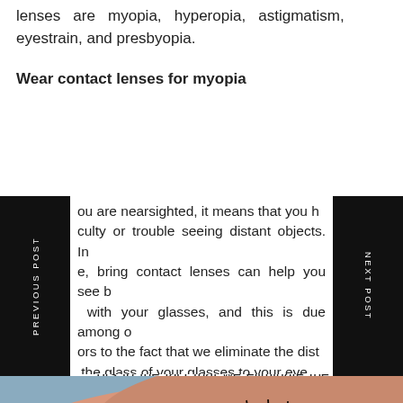lenses are myopia, hyperopia, astigmatism, eyestrain, and presbyopia.
Wear contact lenses for myopia
ou are nearsighted, it means that you have difficulty or trouble seeing distant objects. In this case, bring contact lenses can help you see better than with your glasses, and this is due among other factors to the fact that we eliminate the distance from the glass of your glasses to your eye.
[Figure (photo): Close-up photo of a person inserting a teal/green contact lens into their eye using a pink lens applicator, showing eyelashes and brown iris in detail.]